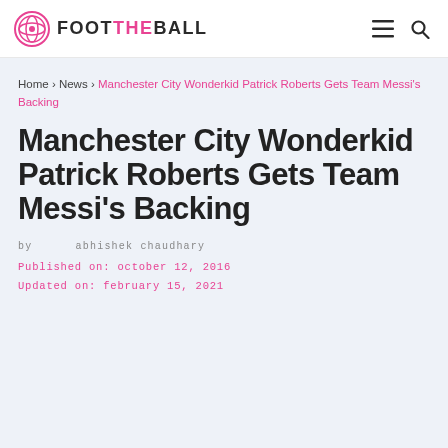FOOT THE BALL
Home › News › Manchester City Wonderkid Patrick Roberts Gets Team Messi's Backing
Manchester City Wonderkid Patrick Roberts Gets Team Messi's Backing
by abhishek chaudhary
Published on: october 12, 2016
Updated on: february 15, 2021